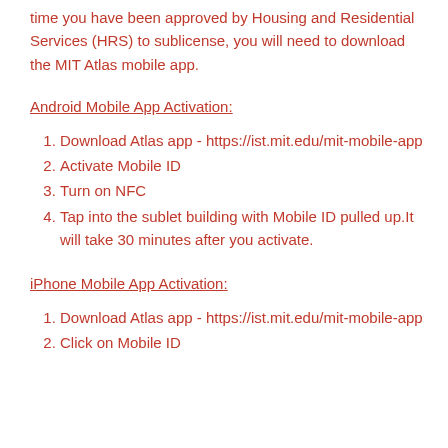time you have been approved by Housing and Residential Services (HRS) to sublicense, you will need to download the MIT Atlas mobile app.
Android Mobile App Activation:
Download Atlas app - https://ist.mit.edu/mit-mobile-app
Activate Mobile ID
Turn on NFC
Tap into the sublet building with Mobile ID pulled up.It will take 30 minutes after you activate.
iPhone Mobile App Activation:
Download Atlas app - https://ist.mit.edu/mit-mobile-app
Click on Mobile ID